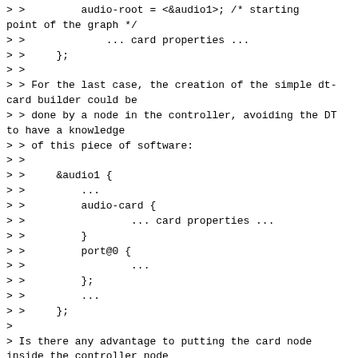> >         audio-root = <&audio1>; /* starting point of the graph */
> >             ... card properties ...
> >     };
> >
> > For the last case, the creation of the simple dt-card builder could be
> > done by a node in the controller, avoiding the DT to have a knowledge
> > of this piece of software:
> >
> >     &audio1 {
> >         ...
> >         audio-card {
> >                 ... card properties ...
> >         }
> >         port@0 {
> >                 ...
> >         };
> >         ...
> >     };
>
> Is there any advantage to putting the card node inside the controller node
> rather than having it as a separate node?

There is no advantage, but it seems to me that the sound device is a
software entity which should not appear in the devicetree.